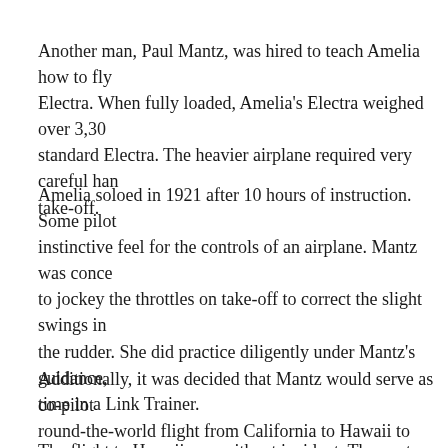Another man, Paul Mantz, was hired to teach Amelia how to fly the Electra. When fully loaded, Amelia's Electra weighed over 3,30 more than a standard Electra. The heavier airplane required very careful han at take-off.
Amelia soloed in 1921 after 10 hours of instruction. Some pilot instinctive feel for the controls of an airplane. Mantz was conce to jockey the throttles on take-off to correct the slight swings in the rudder. She did practice diligently under Mantz's guidance, time in a Link Trainer.
Additionally, it was decided that Mantz would serve as co-pilot round-the-world flight from California to Hawaii to provide add
The flight to Hawaii was without incident. The next morning th Howland Island. Then disaster struck. The machine ground-lo